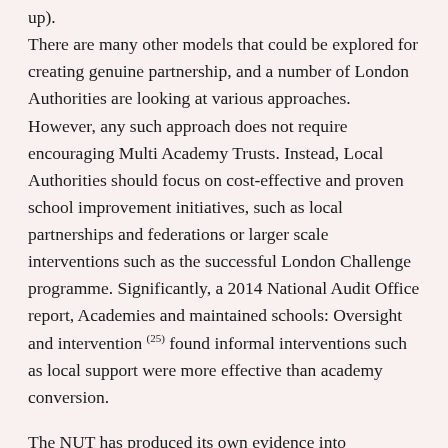There are many other models that could be explored for creating genuine partnership, and a number of London Authorities are looking at various approaches. However, any such approach does not require encouraging Multi Academy Trusts. Instead, Local Authorities should focus on cost-effective and proven school improvement initiatives, such as local partnerships and federations or larger scale interventions such as the successful London Challenge programme. Significantly, a 2014 National Audit Office report, Academies and maintained schools: Oversight and intervention (25) found informal interventions such as local support were more effective than academy conversion.
The NUT has produced its own evidence into successful partnership working which was submitted to the Education Committee Inquiry into School Partnerships and Cooperation in 2013. It concluded that “the most successful partnerships involve all the key partners in education and characterised by a bottom-up approach to developing the real collaborative arrangements that are most suited to the local context. The most successful school partnerships are driven at a local level, are flexible, involve all local schools, engage the whole community around a shared